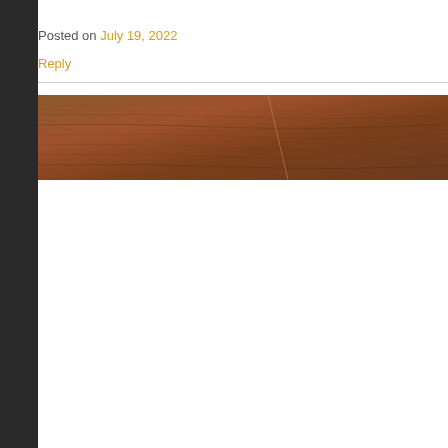Posted on July 19, 2022
Reply
[Figure (photo): A horizontal banner image showing a close-up of a wood grain texture with brown tones and visible grain lines]